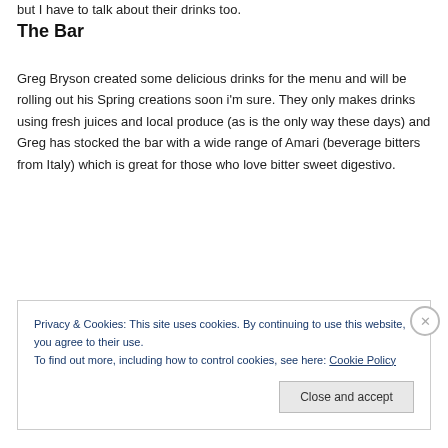but I have to talk about their drinks too.
The Bar
Greg Bryson created some delicious drinks for the menu and will be rolling out his Spring creations soon i’m sure. They only makes drinks using fresh juices and local produce (as is the only way these days) and Greg has stocked the bar with a wide range of Amari (beverage bitters from Italy) which is great for those who love bitter sweet digestivo.
Privacy & Cookies: This site uses cookies. By continuing to use this website, you agree to their use.
To find out more, including how to control cookies, see here: Cookie Policy
Close and accept